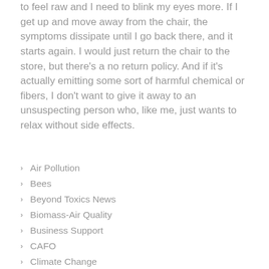to feel raw and I need to blink my eyes more. If I get up and move away from the chair, the symptoms dissipate until I go back there, and it starts again. I would just return the chair to the store, but there's a no return policy. And if it's actually emitting some sort of harmful chemical or fibers, I don't want to give it away to an unsuspecting person who, like me, just wants to relax without side effects.
Air Pollution
Bees
Beyond Toxics News
Biomass-Air Quality
Business Support
CAFO
Climate Change
Climate Justice